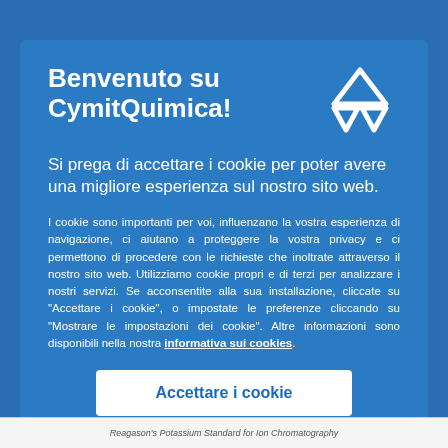Benvenuto su CymitQuimica!
Si prega di accettare i cookie per poter avere una migliore esperienza sul nostro sito web.
I cookie sono importanti per voi, influenzano la vostra esperienza di navigazione, ci aiutano a proteggere la vostra privacy e ci permettono di procedere con le richieste che inoltrate attraverso il nostro sito web. Utilizziamo cookie propri e di terzi per analizzare i nostri servizi. Se acconsentite alla sua installazione, cliccate su "Accettare i cookie", o impostate le preferenze cliccando su "Mostrare le impostazioni dei cookie". Altre informazioni sono disponibili nella nostra informativa sui cookies.
Reagason's Potassium Standard for Ion Chromatography